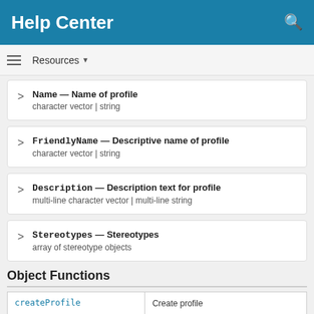Help Center
Resources ▾
Name — Name of profile
character vector | string
FriendlyName — Descriptive name of profile
character vector | string
Description — Description text for profile
multi-line character vector | multi-line string
Stereotypes — Stereotypes
array of stereotype objects
Object Functions
| Function | Description |
| --- | --- |
| createProfile | Create profile |